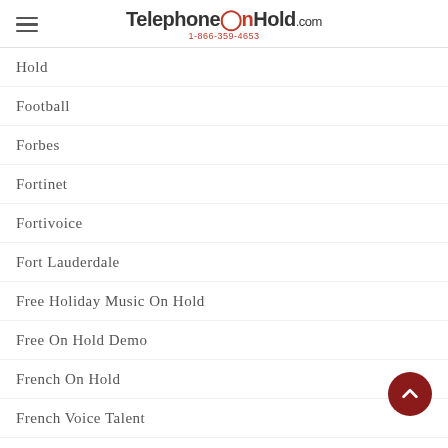TelephoneOnHold.com 1-866-359-4653
Hold
Football
Forbes
Fortinet
Fortivoice
Fort Lauderdale
Free Holiday Music On Hold
Free On Hold Demo
French On Hold
French Voice Talent
Funeral Home
Funeral Home